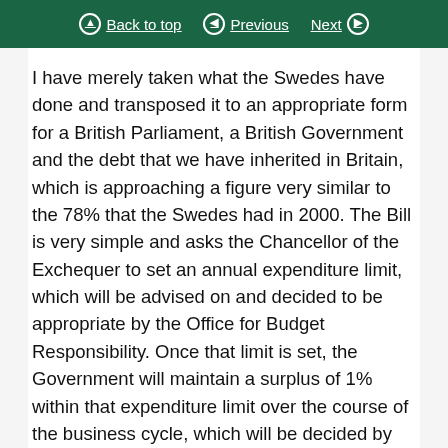Back to top | Previous | Next
I have merely taken what the Swedes have done and transposed it to an appropriate form for a British Parliament, a British Government and the debt that we have inherited in Britain, which is approaching a figure very similar to the 78% that the Swedes had in 2000. The Bill is very simple and asks the Chancellor of the Exchequer to set an annual expenditure limit, which will be advised on and decided to be appropriate by the Office for Budget Responsibility. Once that limit is set, the Government will maintain a surplus of 1% within that expenditure limit over the course of the business cycle, which will be decided by the OBR. Parliament will vote on that expenditure limit. In so doing it will not only force the Government to keep